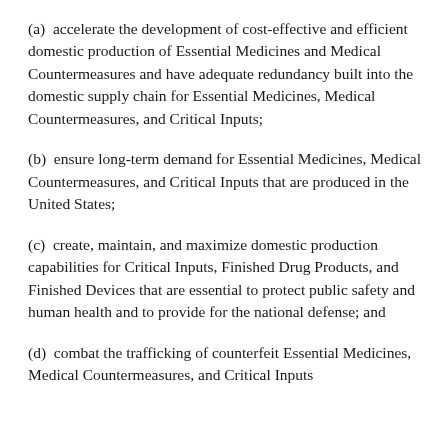(a)  accelerate the development of cost-effective and efficient domestic production of Essential Medicines and Medical Countermeasures and have adequate redundancy built into the domestic supply chain for Essential Medicines, Medical Countermeasures, and Critical Inputs;
(b)  ensure long-term demand for Essential Medicines, Medical Countermeasures, and Critical Inputs that are produced in the United States;
(c)  create, maintain, and maximize domestic production capabilities for Critical Inputs, Finished Drug Products, and Finished Devices that are essential to protect public safety and human health and to provide for the national defense; and
(d)  combat the trafficking of counterfeit Essential Medicines, Medical Countermeasures, and Critical Inputs